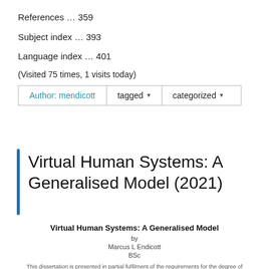References … 359
Subject index … 393
Language index … 401
(Visited 75 times, 1 visits today)
Author: mendicott   tagged ▾   categorized ▾
Virtual Human Systems: A Generalised Model (2021)
Virtual Human Systems: A Generalised Model
by
Marcus L Endicott
BSc
This dissertation is presented in partial fulfilment of the requirements for the degree of Master of
Creative Industries